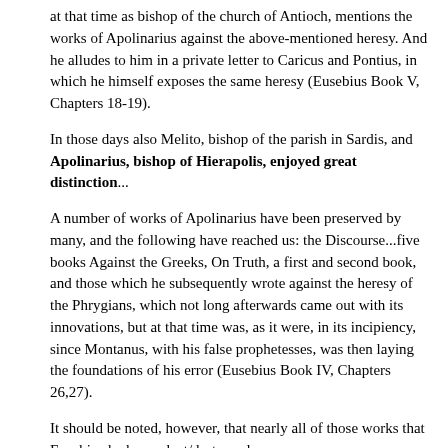at that time as bishop of the church of Antioch, mentions the works of Apolinarius against the above-mentioned heresy. And he alludes to him in a private letter to Caricus and Pontius, in which he himself exposes the same heresy (Eusebius Book V, Chapters 18-19).
In those days also Melito, bishop of the parish in Sardis, and Apolinarius, bishop of Hierapolis, enjoyed great distinction...
A number of works of Apolinarius have been preserved by many, and the following have reached us: the Discourse...five books Against the Greeks, On Truth, a first and second book, and those which he subsequently wrote against the heresy of the Phrygians, which not long afterwards came out with its innovations, but at that time was, as it were, in its incipiency, since Montanus, with his false prophetesses, was then laying the foundations of his error (Eusebius Book IV, Chapters 26,27).
It should be noted, however, that nearly all of those works that Eusebius had were lost/destroyed.
Of the Montanists, according to The Catholic Encyclopedia: